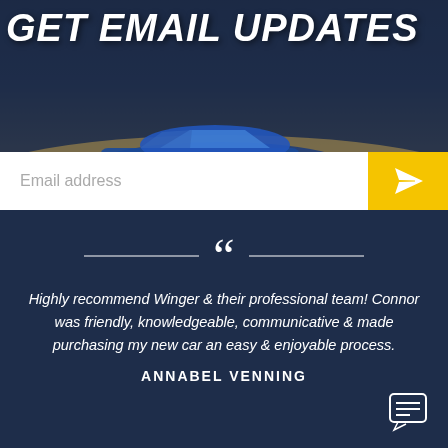GET EMAIL UPDATES
[Figure (screenshot): Email signup bar with white input field showing 'Email address' placeholder and yellow submit button with paper plane icon]
[Figure (illustration): Large decorative opening double quotation mark in white flanked by horizontal divider lines on a dark navy background]
Highly recommend Winger & their professional team! Connor was friendly, knowledgeable, communicative & made purchasing my new car an easy & enjoyable process.
ANNABEL VENNING